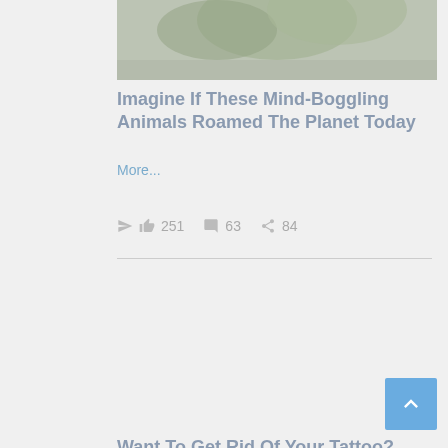[Figure (photo): Partial view of a photo showing greenery/plants, top portion of an article card]
Imagine If These Mind-Boggling Animals Roamed The Planet Today
More...
251  63  84
[Figure (photo): Photo of a tattoo removal laser procedure being performed on skin with a tattoo]
Want To Get Rid Of Your Tattoo? Read This